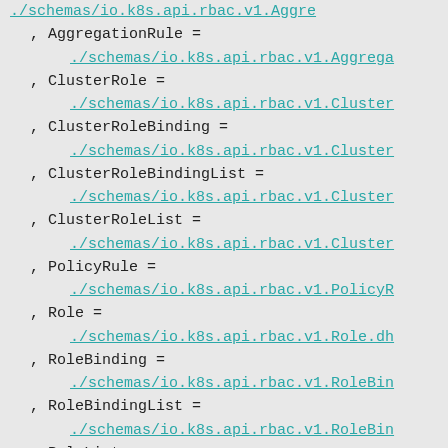, AggregationRule =
    ./schemas/io.k8s.api.rbac.v1.Aggrega
, ClusterRole =
    ./schemas/io.k8s.api.rbac.v1.Cluster
, ClusterRoleBinding =
    ./schemas/io.k8s.api.rbac.v1.Cluster
, ClusterRoleBindingList =
    ./schemas/io.k8s.api.rbac.v1.Cluster
, ClusterRoleList =
    ./schemas/io.k8s.api.rbac.v1.Cluster
, PolicyRule =
    ./schemas/io.k8s.api.rbac.v1.PolicyR
, Role =
    ./schemas/io.k8s.api.rbac.v1.Role.dh
, RoleBinding =
    ./schemas/io.k8s.api.rbac.v1.RoleBin
, RoleBindingList =
    ./schemas/io.k8s.api.rbac.v1.RoleBin
, RoleList =
    ./schemas/io.k8s.api.rbac.v1.RoleLis
, RoleRef =